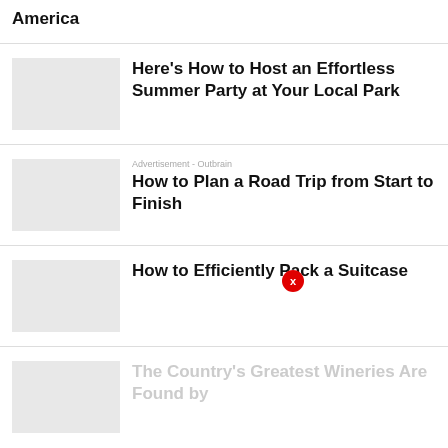America
Here's How to Host an Effortless Summer Party at Your Local Park
How to Plan a Road Trip from Start to Finish
Advertisement - Outbrain
How to Efficiently Pack a Suitcase
The Country's Greatest Wineries Are Found by